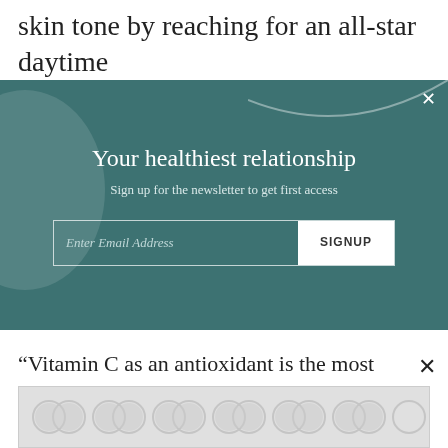skin tone by reaching for an all-star daytime ingredient such as a vitamin C serum. It can work
[Figure (other): Newsletter signup modal overlay with teal/dark green background, decorative circle, curved line, close button, title 'Your healthiest relationship', subtitle 'Sign up for the newsletter to get first access', email input field with 'Enter Email Address' placeholder, and SIGNUP button]
“Vitamin C as an antioxidant is the most researched of antioxidants in the world,” says Ole Henriksen, who founded his eponymous skin-care line. “One of the great benefits is that when you use clinically proven, stable, and multiple forms of vitamin C, it [stops] the
[Figure (other): Advertisement banner with gray pattern of overlapping circles/rings]